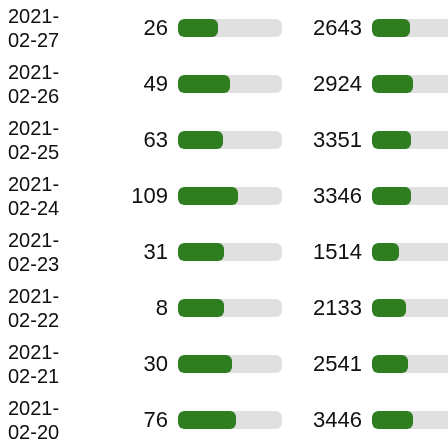| Date | Daily | Bar1 | Cumulative | Bar2 |
| --- | --- | --- | --- | --- |
| 2021-02-27 | 26 |  | 2643 |  |
| 2021-02-26 | 49 |  | 2924 |  |
| 2021-02-25 | 63 |  | 3351 |  |
| 2021-02-24 | 109 |  | 3346 |  |
| 2021-02-23 | 31 |  | 1514 |  |
| 2021-02-22 | 8 |  | 2133 |  |
| 2021-02-21 | 30 |  | 2541 |  |
| 2021-02-20 | 76 |  | 3446 |  |
| 2021- |  |  |  |  |